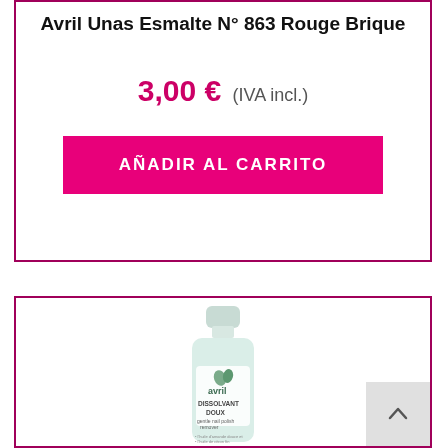Avril Unas Esmalte N° 863 Rouge Brique
3,00 € (IVA incl.)
AÑADIR AL CARRITO
[Figure (photo): Product photo of Avril Dissolvant Doux gentle nail polish remover bottle]